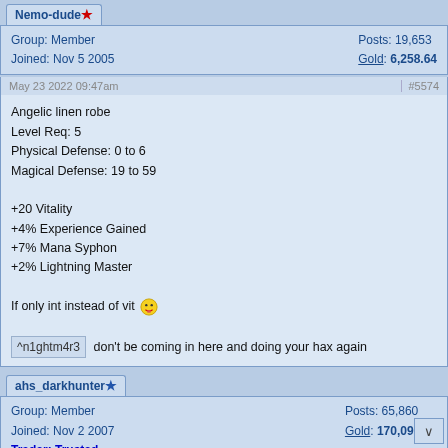Nemo-dude ★ Group: Member | Joined: Nov 5 2005 | Posts: 19,653 | Gold: 6,258.64
May 23 2022 09:47am #5574
Angelic linen robe
Level Req: 5
Physical Defense: 0 to 6
Magical Defense: 19 to 59

+20 Vitality
+4% Experience Gained
+7% Mana Syphon
+2% Lightning Master

If only int instead of vit [emoji]

^n1ghtm4r3 don't be coming in here and doing your hax again
ahs_darkhunter ★ Group: Member | Joined: Nov 2 2007 | Trader: Trusted | Posts: 65,860 | Gold: 170,090.78
May 25 2022 09:15am #5575
Magical adamantium dagger
Level Req: 35
Damage: 126 to 221

+48 Vitality

[emoji]
Lewy #### Group: Member | Posts: 42,504